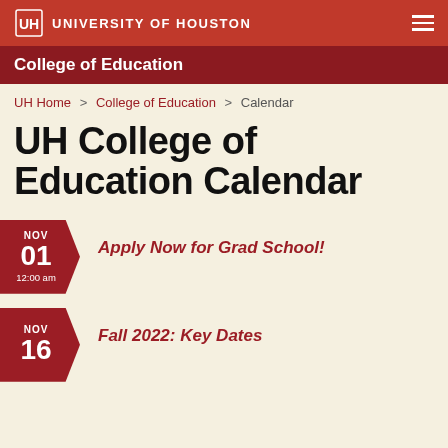UNIVERSITY OF HOUSTON
College of Education
UH Home > College of Education > Calendar
UH College of Education Calendar
Nov 01 12:00 am — Apply Now for Grad School!
Nov 16 — Fall 2022: Key Dates